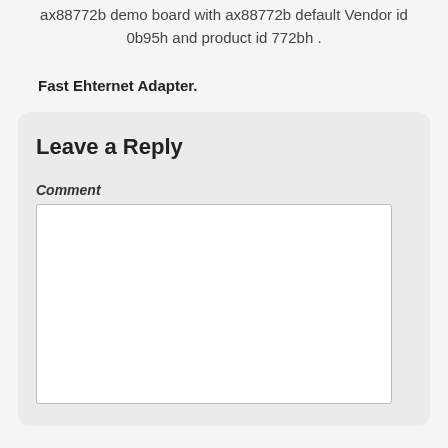ax88772b demo board with ax88772b default Vendor id 0b95h and product id 772bh .
Fast Ehternet Adapter.
Leave a Reply
Comment
[Figure (other): Empty comment text area input field]